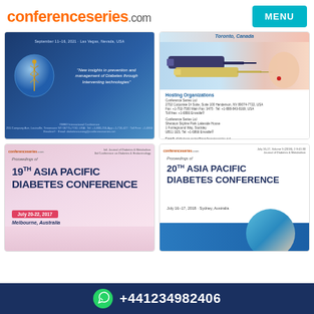[Figure (logo): conferenceseries.com logo in orange/grey, with MENU button in teal]
[Figure (photo): Blue medical conference card with caduceus symbol and quote about diabetes technology]
[Figure (photo): Toronto Canada conference card with insulin syringes and finger prick blood test image, Hosting Organizations info and email]
[Figure (photo): 19th Asia Pacific Diabetes Conference proceedings cover, July 20-22, 2017, Melbourne, Australia, pink gradient background]
[Figure (photo): 20th Asia Pacific Diabetes Conference proceedings cover, July 16-17, 2018, Sydney, Australia, white background with blue bar]
+441234982406